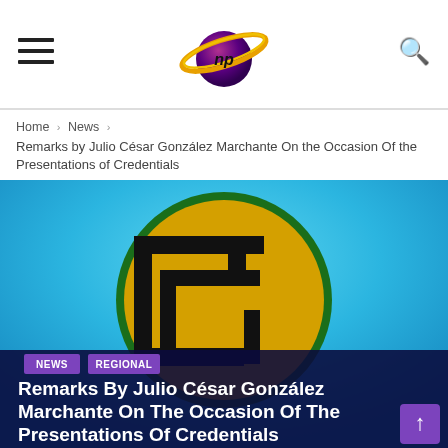NP News Portal - Navigation header with hamburger menu, logo, and search icon
Home > News > Remarks by Julio César González Marchante On the Occasion Of the Presentations of Credentials
[Figure (photo): CARICOM logo on a cyan/blue gradient background — a golden circle with dark green border containing a stylized 'C' shape in black, with NEWS and REGIONAL purple tags, overlaid with white bold title text: Remarks By Julio César González Marchante On The Occasion Of The Presentations Of Credentials]